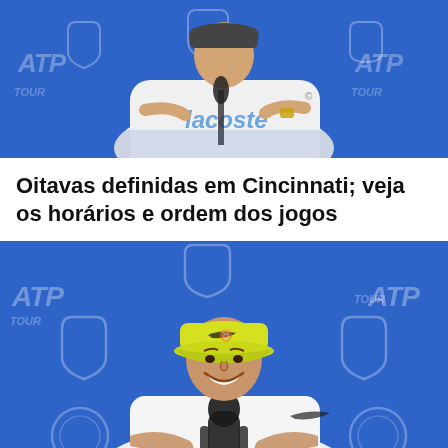[Figure (photo): Person wearing a white Lacoste hoodie at a press conference microphone, blue ATP Tour branded backdrop behind them, gesturing with hands]
Oitavas definidas em Cincinnati; veja os horários e ordem dos jogos
[Figure (photo): Tennis player wearing yellow Nike cap and white Nike t-shirt, smiling at a press conference microphone with blue ATP Tour branded backdrop]